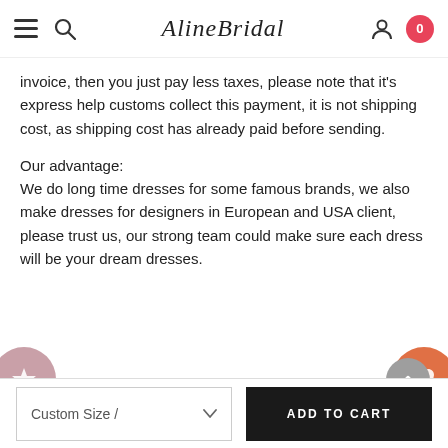AlineBridal — navigation header with menu, search, account, cart icons
invoice, then you just pay less taxes, please note that it's express help customs collect this payment, it is not shipping cost, as shipping cost has already paid before sending.
Our advantage:
We do long time dresses for some famous brands, we also make dresses for designers in European and USA client, please trust us, our strong team could make sure each dress will be your dream dresses.
SIGN UP FOR OUR NEWSLETTER
Your email address
SUBSCRIBE
Custom Size /
ADD TO CART